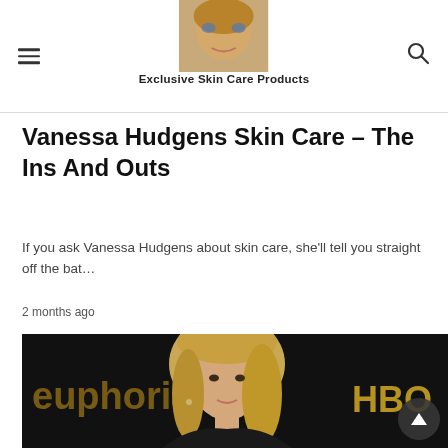Exclusive Skin Care Products
Vanessa Hudgens Skin Care – The Ins And Outs
If you ask Vanessa Hudgens about skin care, she'll tell you straight off the bat…
2 months ago
[Figure (photo): Blonde woman posing at an HBO Euphoria event on a dark background, wearing a black outfit]